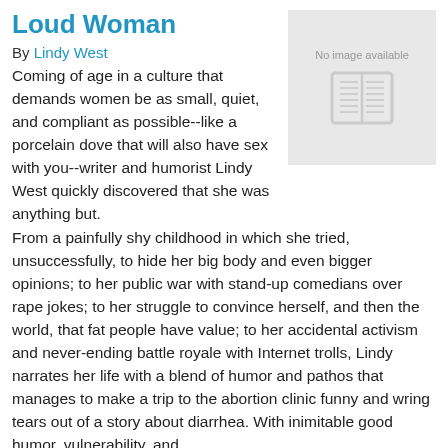Loud Woman
By Lindy West
[Figure (illustration): Book cover placeholder image showing a gray box with the text 'No image available' and a book icon]
Coming of age in a culture that demands women be as small, quiet, and compliant as possible--like a porcelain dove that will also have sex with you--writer and humorist Lindy West quickly discovered that she was anything but. From a painfully shy childhood in which she tried, unsuccessfully, to hide her big body and even bigger opinions; to her public war with stand-up comedians over rape jokes; to her struggle to convince herself, and then the world, that fat people have value; to her accidental activism and never-ending battle royale with Internet trolls, Lindy narrates her life with a blend of humor and pathos that manages to make a trip to the abortion clinic funny and wring tears out of a story about diarrhea. With inimitable good humor, vulnerability, and